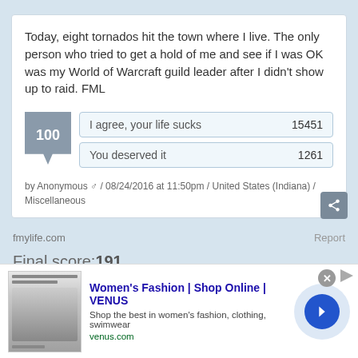Today, eight tornados hit the town where I live. The only person who tried to get a hold of me and see if I was OK was my World of Warcraft guild leader after I didn't show up to raid. FML
I agree, your life sucks	15451
You deserved it	1261
by Anonymous ♂ / 08/24/2016 at 11:50pm / United States (Indiana) / Miscellaneous
fmylife.com
Report
Final score:191
[Figure (screenshot): Advertisement for Women's Fashion | Shop Online | VENUS showing a fashion image, blue title text, description 'Shop the best in women's fashion, clothing, swimwear', URL venus.com, and a blue arrow button]